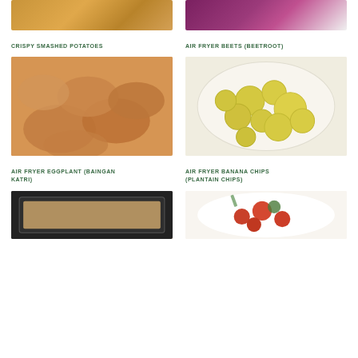[Figure (photo): Partial top image left: crispy smashed potatoes on a baking tray]
[Figure (photo): Partial top image right: air fryer beets on a white plate]
CRISPY SMASHED POTATOES
AIR FRYER BEETS (BEETROOT)
[Figure (photo): Air fryer eggplant (baingan katri) slices on a white plate, golden-brown color]
[Figure (photo): Air fryer banana chips (plantain chips) piled in a white bowl]
AIR FRYER EGGPLANT (BAINGAN KATRI)
AIR FRYER BANANA CHIPS (PLANTAIN CHIPS)
[Figure (photo): Partial bottom image left: food in an air fryer basket]
[Figure (photo): Partial bottom image right: tomato-based dish with herbs on a white plate]